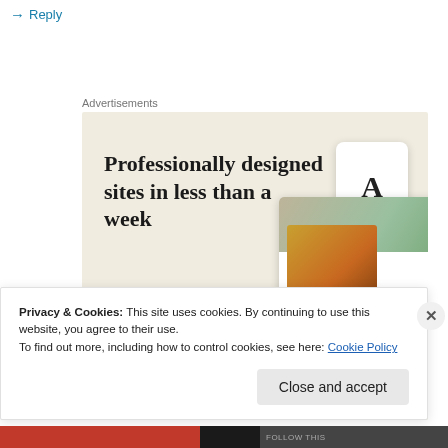Reply
Advertisements
[Figure (illustration): Advertisement banner with beige/cream background showing text 'Professionally designed sites in less than a week', a green 'Explore options' button, and mockup images of website designs on the right side.]
Privacy & Cookies: This site uses cookies. By continuing to use this website, you agree to their use.
To find out more, including how to control cookies, see here: Cookie Policy
Close and accept